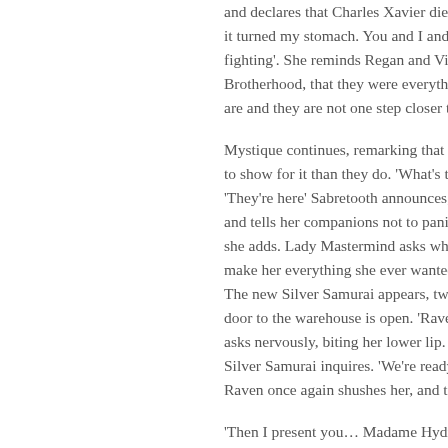and declares that Charles Xavier died a... it turned my stomach. You and I and Vic... fighting'. She reminds Regan and Victor... Brotherhood, that they were everything... are and they are not one step closer to a...
Mystique continues, remarking that it oc... to show for it than they do. 'What's the m... 'They're here' Sabretooth announces, ne... and tells her companions not to panic a... she adds. Lady Mastermind asks what i... make her everything she ever wanted to... The new Silver Samurai appears, two sw... door to the warehouse is open. 'Raven'... asks nervously, biting her lower lip. 'I tol... Silver Samurai inquires. 'We're ready' R... Raven once again shushes her, and tell...
'Then I present you… Madame Hydra!' f... forward, holding a large gun over her sh... before getting distracted by the huge pil... absolutely… gorgeous' Madame Hydra... them 'You have everything here' 'M...